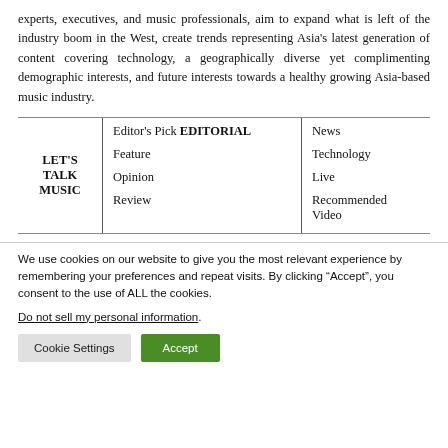experts, executives, and music professionals, aim to expand what is left of the industry boom in the West, create trends representing Asia's latest generation of content covering technology, a geographically diverse yet complimenting demographic interests, and future interests towards a healthy growing Asia-based music industry.
| LET'S TALK MUSIC | Editor's Pick EDITORIAL
Feature
Opinion
Review | News
Technology
Live
Recommended
Video |
We use cookies on our website to give you the most relevant experience by remembering your preferences and repeat visits. By clicking “Accept”, you consent to the use of ALL the cookies.
Do not sell my personal information.
Cookie Settings   Accept